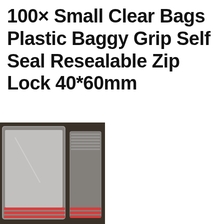100× Small Clear Bags Plastic Baggy Grip Self Seal Resealable Zip Lock 40*60mm
[Figure (photo): A stack of small clear resealable zip lock plastic bags with red grip seal strips at the top, shown from two angles — front and side view, placed on a dark surface.]